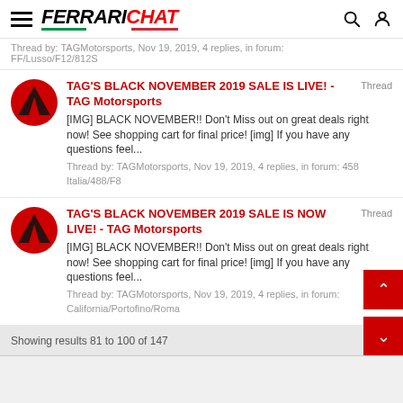FERRARICHAT
Thread by: TAGMotorsports, Nov 19, 2019, 4 replies, in forum: FF/Lusso/F12/812S
TAG'S BLACK NOVEMBER 2019 SALE IS LIVE! - TAG Motorsports Thread [IMG] BLACK NOVEMBER!! Don't Miss out on great deals right now! See shopping cart for final price! [img] If you have any questions feel... Thread by: TAGMotorsports, Nov 19, 2019, 4 replies, in forum: 458 Italia/488/F8
TAG'S BLACK NOVEMBER 2019 SALE IS NOW LIVE! - TAG Motorsports Thread [IMG] BLACK NOVEMBER!! Don't Miss out on great deals right now! See shopping cart for final price! [img] If you have any questions feel... Thread by: TAGMotorsports, Nov 19, 2019, 4 replies, in forum: California/Portofino/Roma
Showing results 81 to 100 of 147